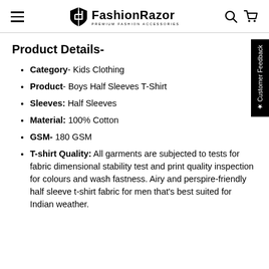FashionRazor - Premium Fashion Accessories
Product Details-
Category- Kids Clothing
Product- Boys Half Sleeves T-Shirt
Sleeves: Half Sleeves
Material: 100% Cotton
GSM- 180 GSM
T-shirt Quality: All garments are subjected to tests for fabric dimensional stability test and print quality inspection for colours and wash fastness. Airy and perspire-friendly half sleeve t-shirt fabric for men that's best suited for Indian weather.